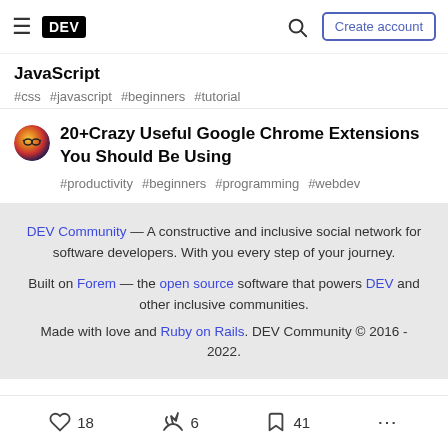DEV — Create account
JavaScript
#css #javascript #beginners #tutorial
20+Crazy Useful Google Chrome Extensions You Should Be Using
#productivity #beginners #programming #webdev
DEV Community — A constructive and inclusive social network for software developers. With you every step of your journey.

Built on Forem — the open source software that powers DEV and other inclusive communities.
Made with love and Ruby on Rails. DEV Community © 2016 - 2022.
18  6  41  ...